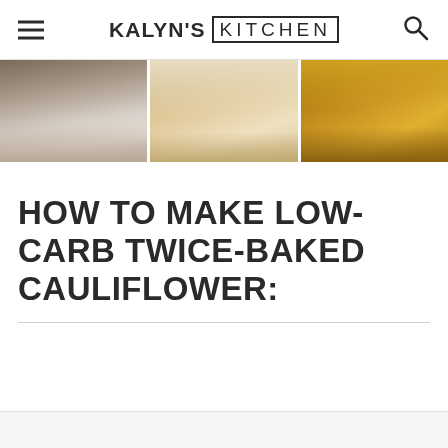KALYN'S KITCHEN
[Figure (photo): Three food photos side by side showing baked cauliflower dishes — left shows a white creamy top, middle shows a layered dish, right shows a golden baked dish]
HOW TO MAKE LOW-CARB TWICE-BAKED CAULIFLOWER: